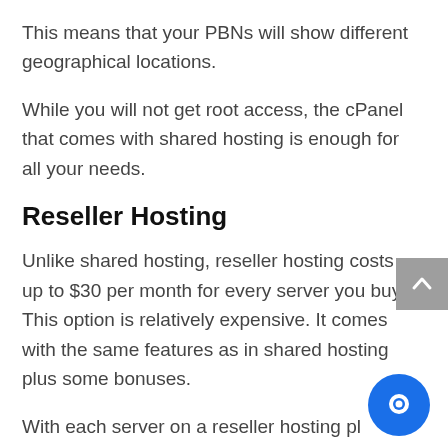This means that your PBNs will show different geographical locations.
While you will not get root access, the cPanel that comes with shared hosting is enough for all your needs.
Reseller Hosting
Unlike shared hosting, reseller hosting costs up to $30 per month for every server you buy. This option is relatively expensive. It comes with the same features as in shared hosting plus some bonuses.
With each server on a reseller hosting pl... you get more resources for your PBN. Fi... off, it comes with WHM access allowing you